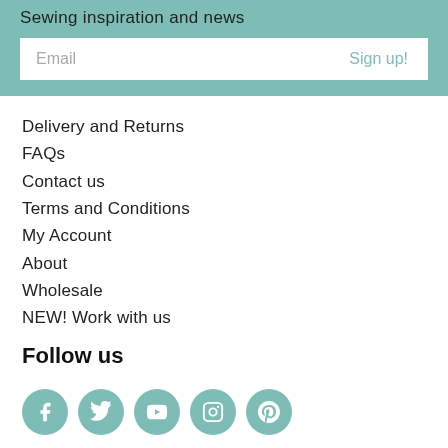Sewing inspiration and news
Email
Sign up!
Delivery and Returns
FAQs
Contact us
Terms and Conditions
My Account
About
Wholesale
NEW! Work with us
Follow us
[Figure (infographic): Five social media icons (Facebook, Twitter, YouTube, Instagram, Pinterest) as teal circles with white icons]